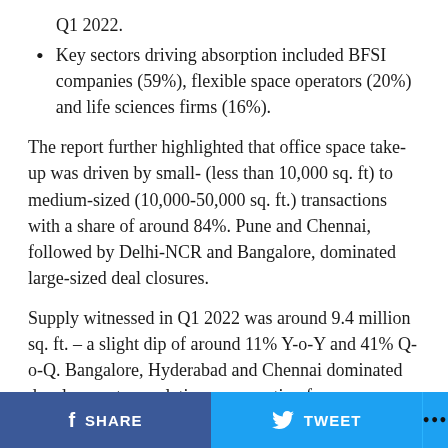Key sectors driving absorption included BFSI companies (59%), flexible space operators (20%) and life sciences firms (16%).
The report further highlighted that office space take-up was driven by small- (less than 10,000 sq. ft) to medium-sized (10,000-50,000 sq. ft.) transactions with a share of around 84%. Pune and Chennai, followed by Delhi-NCR and Bangalore, dominated large-sized deal closures.
Supply witnessed in Q1 2022 was around 9.4 million sq. ft. – a slight dip of around 11% Y-o-Y and 41% Q-o-Q. Bangalore, Hyderabad and Chennai dominated development completions, accounting for a cumulative share of about 70%. Supply was driven by non-SEZ developments with a share of around 83%.